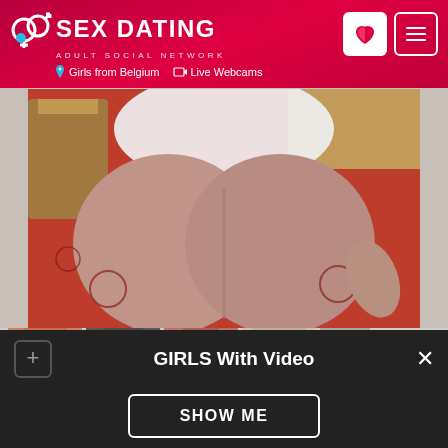SEX DATING ADULT SOCIAL NETWORK | Girls from Belgium | Live Webcams
[Figure (photo): Close-up photo of a person kneeling on a patterned red carpet wearing a white top, showing lower body from behind.]
[Figure (photo): Thumbnail strip showing multiple smaller photos.]
GIRLS With Video
SHOW ME